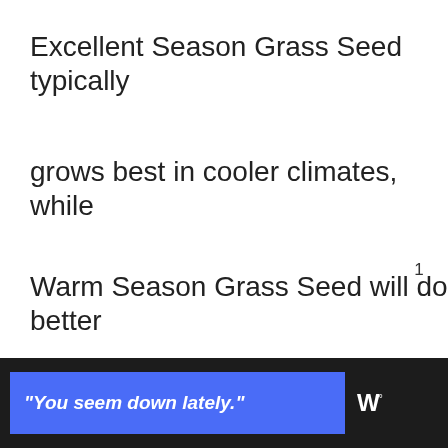Excellent Season Grass Seed typically
grows best in cooler climates, while
Warm Season Grass Seed will do better
in warmer temperatures.
[Figure (screenshot): UI widget with teal heart/like button showing count of 1, and a share button below it]
[Figure (screenshot): What's Next panel with small grass image thumbnail and text 'How Long Does Cat...']
"You seem down lately."
[Figure (logo): White logo with 'W' mark and degree symbol on dark background]